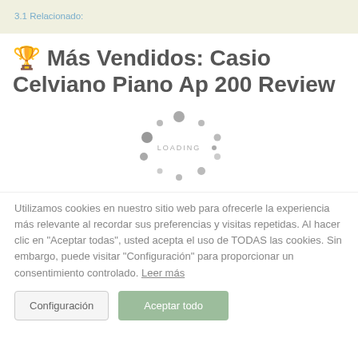3.1 Relacionado:
🏆 Más Vendidos: Casio Celviano Piano Ap 200 Review
[Figure (illustration): Loading spinner animation showing grey dots arranged in a circle with the text LOADING in the center]
Utilizamos cookies en nuestro sitio web para ofrecerle la experiencia más relevante al recordar sus preferencias y visitas repetidas. Al hacer clic en "Aceptar todas", usted acepta el uso de TODAS las cookies. Sin embargo, puede visitar "Configuración" para proporcionar un consentimiento controlado. Leer más
Configuración   Aceptar todo